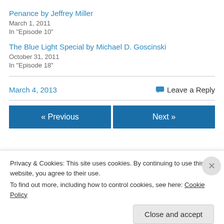Penance by Jeffrey Miller
March 1, 2011
In "Episode 10"
The Blue Light Special by Michael D. Goscinski
October 31, 2011
In "Episode 18"
March 4, 2013
Leave a Reply
« Previous
Next »
Privacy & Cookies: This site uses cookies. By continuing to use this website, you agree to their use.
To find out more, including how to control cookies, see here: Cookie Policy
Close and accept